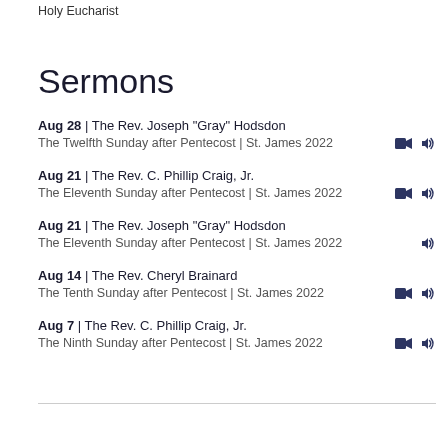Holy Eucharist
Sermons
Aug 28 | The Rev. Joseph "Gray" Hodsdon — The Twelfth Sunday after Pentecost | St. James 2022
Aug 21 | The Rev. C. Phillip Craig, Jr. — The Eleventh Sunday after Pentecost | St. James 2022
Aug 21 | The Rev. Joseph "Gray" Hodsdon — The Eleventh Sunday after Pentecost | St. James 2022
Aug 14 | The Rev. Cheryl Brainard — The Tenth Sunday after Pentecost | St. James 2022
Aug 7 | The Rev. C. Phillip Craig, Jr. — The Ninth Sunday after Pentecost | St. James 2022